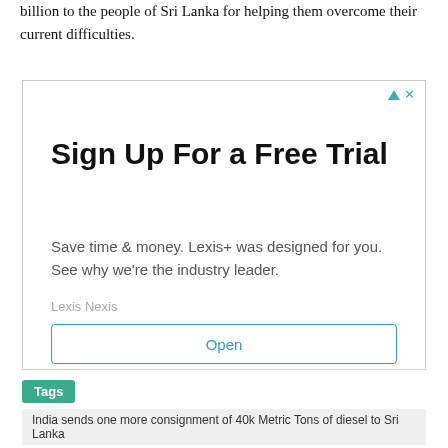billion to the people of Sri Lanka for helping them overcome their current difficulties.
[Figure (other): Advertisement banner for Lexis Nexis with headline 'Sign Up For a Free Trial', subtext 'Save time & money. Lexis+ was designed for you. See why we're the industry leader.', brand name 'Lexis Nexis', and an 'Open' button.]
Tags
India sends one more consignment of 40k Metric Tons of diesel to Sri Lanka
India stands with Sri Lanka in its tough time